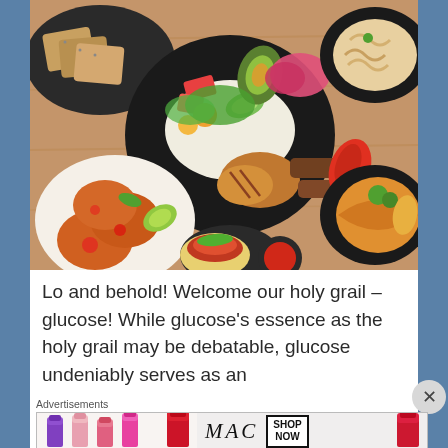[Figure (photo): Overhead view of multiple restaurant dishes on a wooden table including fried chicken, grain bowl with avocado and vegetables, pasta, grilled meats, omelette, and tacos with red sauce]
Lo and behold! Welcome our holy grail – glucose! While glucose's essence as the holy grail may be debatable, glucose undeniably serves as an
Advertisements
[Figure (photo): MAC Cosmetics advertisement banner showing colorful lipsticks and a SHOP NOW call to action box]